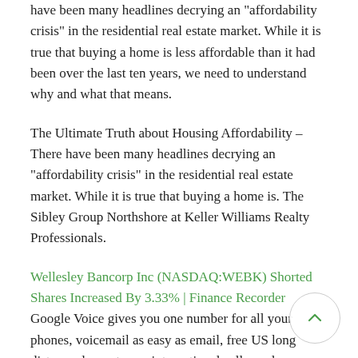have been many headlines decrying an "affordability crisis" in the residential real estate market. While it is true that buying a home is less affordable than it had been over the last ten years, we need to understand why and what that means.
The Ultimate Truth about Housing Affordability – There have been many headlines decrying an "affordability crisis" in the residential real estate market. While it is true that buying a home is. The Sibley Group Northshore at Keller Williams Realty Professionals.
Wellesley Bancorp Inc (NASDAQ:WEBK) Shorted Shares Increased By 3.33% | Finance Recorder Google Voice gives you one number for all your phones, voicemail as easy as email, free US long distance, low rates on international calls, and many calling features like transcripts, call...